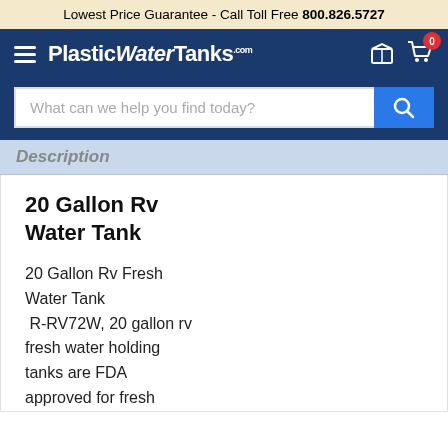Lowest Price Guarantee - Call Toll Free 800.826.5727
[Figure (logo): PlasticWaterTanks.com logo in white on navy background with hamburger menu icon on left and box/cart icons on right with cart badge showing 0]
[Figure (screenshot): Search bar with placeholder text 'What can we help you find today?' and blue search button with magnifying glass icon]
Description
20 Gallon Rv Water Tank
20 Gallon Rv Fresh Water Tank  R-RV72W, 20 gallon rv fresh water holding tanks are FDA approved for fresh